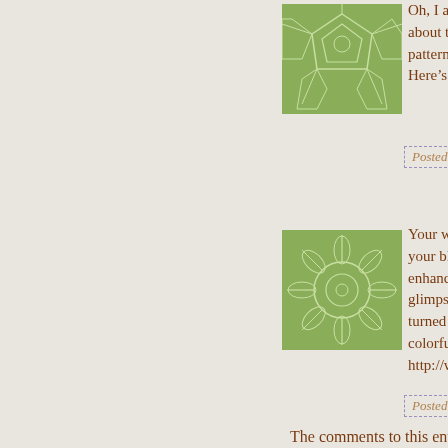[Figure (illustration): Green geometric soccer-ball-like avatar with pentagon/hexagon pattern]
Oh, I am so digging that s... about that book. As a big f... patterns, I can't believe I n... Here's to 2010, knit away!
Posted by: Monique | January ...
[Figure (illustration): Green geometric starburst/snowflake pattern avatar]
Your webpage content is s... your blog, I sincerely wish... enhance in visitors, I will... glimpse forward for your v... turned into even more tow... colorful.Welcome to visit... http://www.sneakers4sales...
Posted by: Creative Recreation...
The comments to this entry are close...